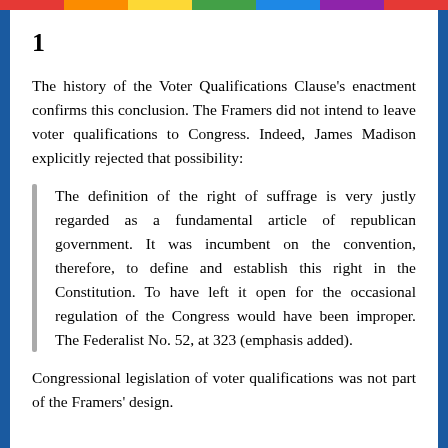1
The history of the Voter Qualifications Clause's enactment confirms this conclusion. The Framers did not intend to leave voter qualifications to Congress. Indeed, James Madison explicitly rejected that possibility:
The definition of the right of suffrage is very justly regarded as a fundamental article of republican government. It was incumbent on the convention, therefore, to define and establish this right in the Constitution. To have left it open for the occasional regulation of the Congress would have been improper. The Federalist No. 52, at 323 (emphasis added).
Congressional legislation of voter qualifications was not part of the Framers' design.